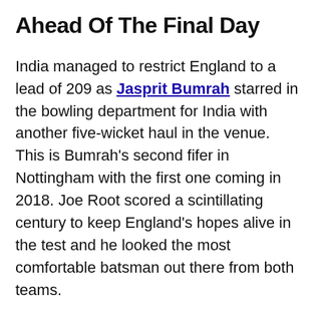Ahead Of The Final Day
India managed to restrict England to a lead of 209 as Jasprit Bumrah starred in the bowling department for India with another five-wicket haul in the venue. This is Bumrah's second fifer in Nottingham with the first one coming in 2018. Joe Root scored a scintillating century to keep England's hopes alive in the test and he looked the most comfortable batsman out there from both teams.